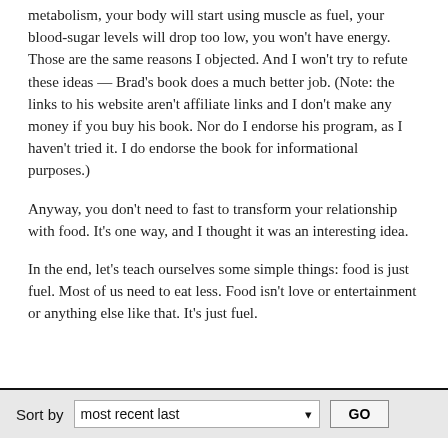metabolism, your body will start using muscle as fuel, your blood-sugar levels will drop too low, you won't have energy. Those are the same reasons I objected. And I won't try to refute these ideas — Brad's book does a much better job. (Note: the links to his website aren't affiliate links and I don't make any money if you buy his book. Nor do I endorse his program, as I haven't tried it. I do endorse the book for informational purposes.)
Anyway, you don't need to fast to transform your relationship with food. It's one way, and I thought it was an interesting idea.
In the end, let's teach ourselves some simple things: food is just fuel. Most of us need to eat less. Food isn't love or entertainment or anything else like that. It's just fuel.
Sort by  most recent last  GO
bethel Pollock says
Together my partner and i looked at this and yes we do have a huge relationship with food individually then also with ourselves with food - like spending time together over dinner or cooking